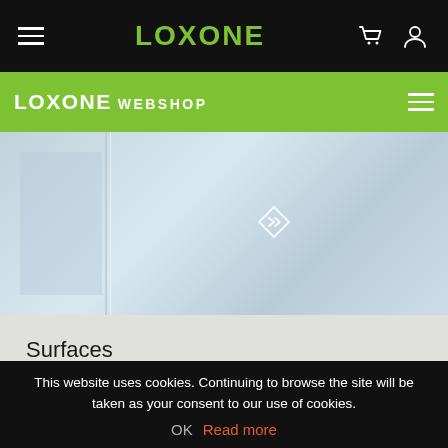LOXONE (navigation bar with hamburger menu, cart icon, user icon)
LOXONE WEBSHOP
[Figure (photo): Product photo showing a blurred bathroom interior with light blue/grey tiles and a touch surface device mounted behind tiles. A diamond/chevron navigation icon is overlaid on the right side of the image.]
Surfaces
As if by magic. Mount the Touch Surface behind ceramic tiles in a bathroom to put invisible smart home control at your fingertips.
This website uses cookies. Continuing to browse the site will be taken as your consent to our use of cookies. OK  Read more